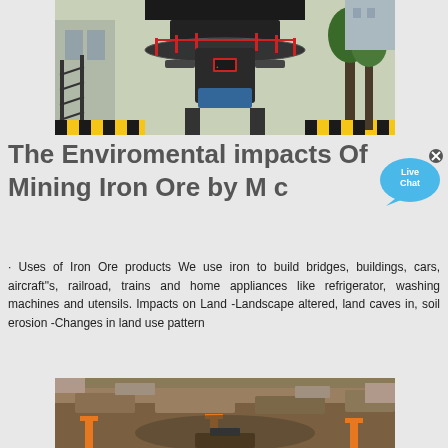[Figure (photo): Large industrial mining/crushing machine inside a factory or warehouse, with scaffolding, railings, and machinery components visible.]
The Enviromental impacts Of Mining Iron Ore by M c
[Figure (illustration): Live Chat speech bubble badge with an 'x' close button in the top right corner.]
· Uses of Iron Ore products We use iron to build bridges, buildings, cars, aircraft"s, railroad, trains and home appliances like refrigerator, washing machines and utensils. Impacts on Land -Landscape altered, land caves in, soil erosion -Changes in land use pattern
[Figure (photo): Open pit mine or quarry showing excavated earth, orange construction barriers, and heavy equipment in a dirt landscape.]